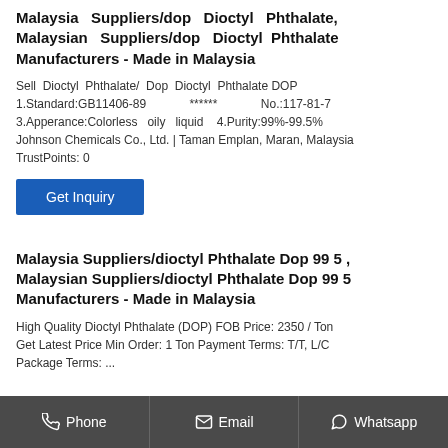Malaysia Suppliers/dop Dioctyl Phthalate, Malaysian Suppliers/dop Dioctyl Phthalate Manufacturers - Made in Malaysia
Sell Dioctyl Phthalate/ Dop Dioctyl Phthalate DOP 1.Standard:GB11406-89 ****** No.:117-81-7 3.Apperance:Colorless oily liquid 4.Purity:99%-99.5% Johnson Chemicals Co., Ltd. | Taman Emplan, Maran, Malaysia TrustPoints: 0
[Figure (other): Blue 'Get Inquiry' button]
Malaysia Suppliers/dioctyl Phthalate Dop 99 5 , Malaysian Suppliers/dioctyl Phthalate Dop 99 5 Manufacturers - Made in Malaysia
High Quality Dioctyl Phthalate (DOP) FOB Price: 2350 / Ton Get Latest Price Min Order: 1 Ton Payment Terms: T/T, L/C Package Terms: ...
Phone   Email   Whatsapp